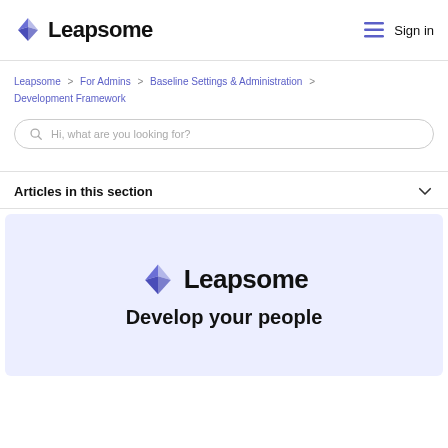Leapsome   Sign in
Leapsome > For Admins > Baseline Settings & Administration > Development Framework
Hi, what are you looking for?
Articles in this section
[Figure (logo): Leapsome logo with purple origami bird icon and bold text 'Leapsome', above large text 'Develop your people' on a light purple/lavender background]